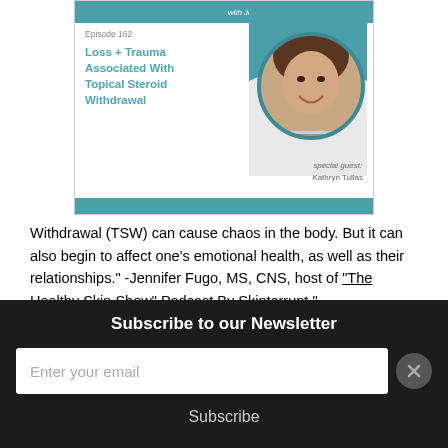[Figure (illustration): Podcast episode card for Episode 162 titled 'Loss + Trauma Associated With Topical Steroid Withdrawal' with Jennifer Fugo and special guest Kathryn Tullas. Shows a smiling woman in a circular photo on the right side of the card.]
Withdrawal (TSW) can cause chaos in the body. But it can also begin to affect one's emotional health, as well as their relationships." -Jennifer Fugo, MS, CNS, host of "The Healthy Skin Show" Podcast By Skinterrupt."
Subscribe to our Newsletter
Enter your email
Subscribe